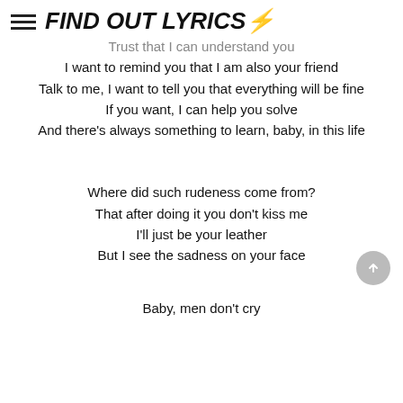FIND OUT LYRICS⚡
Trust that I can understand you
I want to remind you that I am also your friend
Talk to me, I want to tell you that everything will be fine
If you want, I can help you solve
And there's always something to learn, baby, in this life
Where did such rudeness come from?
That after doing it you don't kiss me
I'll just be your leather
But I see the sadness on your face
Baby, men don't cry